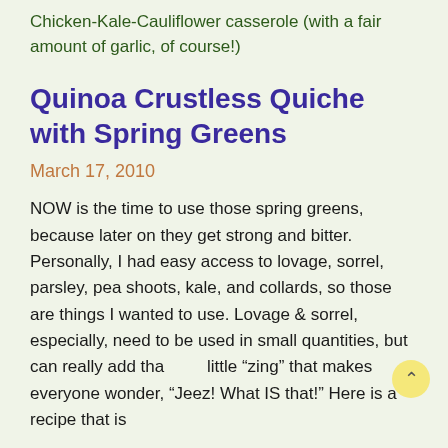Chicken-Kale-Cauliflower casserole (with a fair amount of garlic, of course!)
Quinoa Crustless Quiche with Spring Greens
March 17, 2010
NOW is the time to use those spring greens, because later on they get strong and bitter. Personally, I had easy access to lovage, sorrel, parsley, pea shoots, kale, and collards, so those are things I wanted to use. Lovage & sorrel, especially, need to be used in small quantities, but can really add that little “zing” that makes everyone wonder, “Jeez! What IS that!” Here is a recipe that is